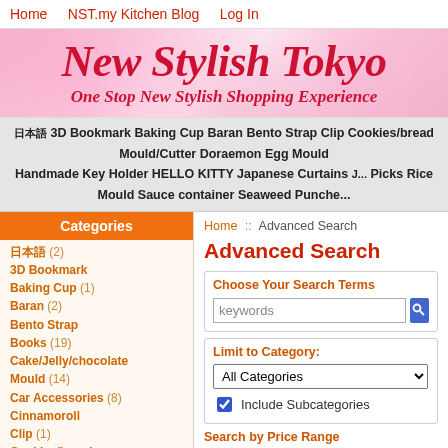Home  NST.my Kitchen Blog  Log In
[Figure (illustration): Website banner with floral pink background. Large bold red text reads 'New Stylish Tokyo' with subtitle 'One Stop New Stylish Shopping Experience']
日本語  3D Bookmark  Baking Cup  Baran  Bento Strap  Clip  Cookies/bread Mould/Cutter  Doraemon  Egg Mould  Handmade Key Holder  HELLO KITTY  Japanese Curtains  J...  Picks  Rice Mould  Sauce container  Seaweed Punche...
Categories
日本語 (2)
3D Bookmark
Baking Cup (1)
Baran (2)
Bento Strap
Books (19)
Cake/Jelly/chocolate Mould (14)
Car Accessories (8)
Cinnamoroll
Clip (1)
Cookies/bread Mould/Cutter (36)
Doraemon (5)
Egg Mould (1)
Home :: Advanced Search
Advanced Search
Choose Your Search Terms
keywords
Limit to Category:
All Categories
Include Subcategories
Search by Price Range